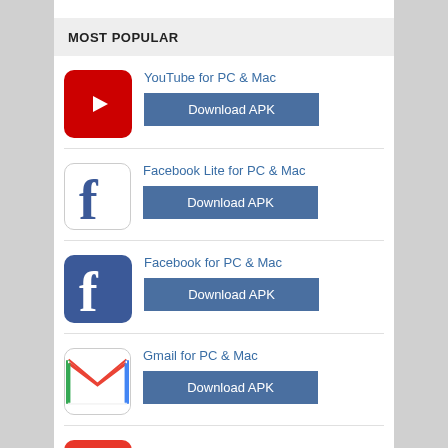MOST POPULAR
YouTube for PC & Mac — Download APK
Facebook Lite for PC & Mac — Download APK
Facebook for PC & Mac — Download APK
Gmail for PC & Mac — Download APK
(partial fifth item)